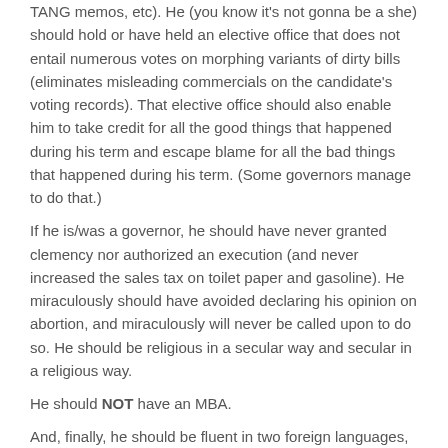TANG memos, etc). He (you know it's not gonna be a she) should hold or have held an elective office that does not entail numerous votes on morphing variants of dirty bills (eliminates misleading commercials on the candidate's voting records). That elective office should also enable him to take credit for all the good things that happened during his term and escape blame for all the bad things that happened during his term. (Some governors manage to do that.)
If he is/was a governor, he should have never granted clemency nor authorized an execution (and never increased the sales tax on toilet paper and gasoline). He miraculously should have avoided declaring his opinion on abortion, and miraculously will never be called upon to do so. He should be religious in a secular way and secular in a religious way.
He should NOT have an MBA.
And, finally, he should be fluent in two foreign languages, but this should never be generally known because Americans think its freaky.